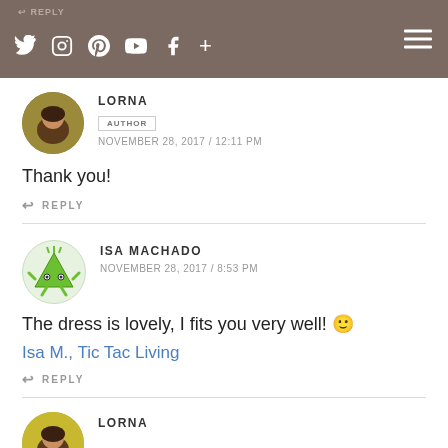REPLY | social icons | hamburger menu
LORNA
AUTHOR
NOVEMBER 28, 2017 / 12:11 PM
Thank you!
↩ REPLY
ISA MACHADO
NOVEMBER 28, 2017 / 8:53 PM
The dress is lovely, I fits you very well! 🙂
Isa M., Tic Tac Living
↩ REPLY
LORNA